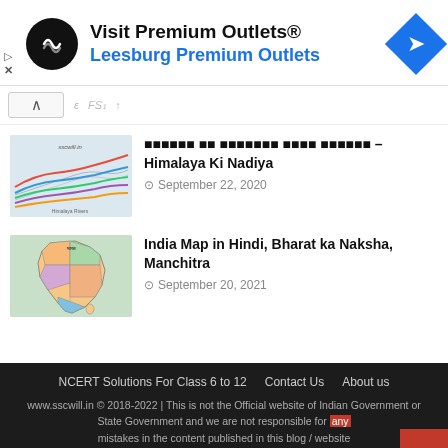[Figure (screenshot): Advertisement banner for Visit Premium Outlets - Leesburg Premium Outlets with loop logo and navigation arrow icon]
[Figure (map): Thumbnail image showing colorful river lines on a map - Himalaya Ki Nadiya]
हिमालय की प्रमुख नदियाँ – Himalaya Ki Nadiya
September 22, 2020
[Figure (map): Thumbnail image showing India map in Hindi (Bharat ka Naksha)]
India Map in Hindi, Bharat ka Naksha, Manchitra
September 20, 2021
NCERT Solutions For Class 6 to 12   Contact Us   About us
www.sscwill.in © 2018-2022 | This is not the Official website of Indian Government or State Government and we are not responsible for any mistakes in the content published in this blog / website
Copyright © 2022 sscwill - General Knowledge in Hindi